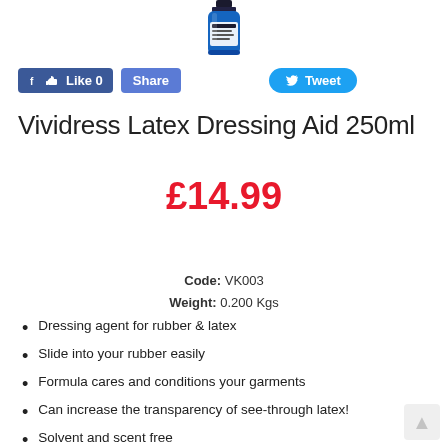[Figure (photo): Product bottle image of Vividress Latex Dressing Aid 250ml, partially visible at top of page]
[Figure (other): Facebook Like 0 button, Facebook Share button, and Twitter Tweet button social sharing row]
Vividress Latex Dressing Aid 250ml
£14.99
Code: VK003
Weight: 0.200 Kgs
Dressing agent for rubber & latex
Slide into your rubber easily
Formula cares and conditions your garments
Can increase the transparency of see-through latex!
Solvent and scent free